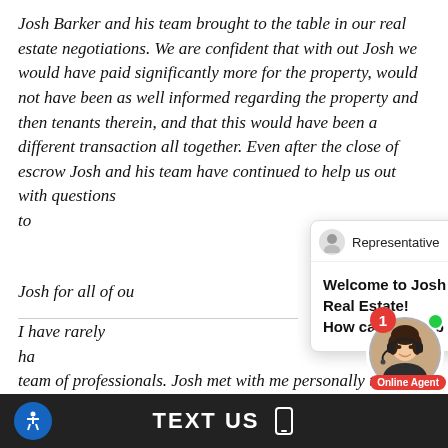Josh Barker and his team brought to the table in our real estate negotiations. We are confident that with out Josh we would have paid significantly more for the property, would not have been as well informed regarding the property and then tenants therein, and that this would have been a different transaction all together. Even after the close of escrow Josh and his team have continued to help us out with questions to Josh for all of ou
[Figure (screenshot): Chat popup with representative icon, title 'Representative', close button, and message 'Welcome to Josh Barker Real Estate! How can we help you?']
I have rarely had team of professionals. Josh met with me personally to explain how the members of his staff would with my wife and I to come to a successful conclusion sale of our home. Each member of this organization specific responsibilities in the sale process, and e
[Figure (photo): Online agent avatar photo of a woman with headset, green online indicator dot, red notification badge showing '1', and 'Online Agent' label]
TEXT US